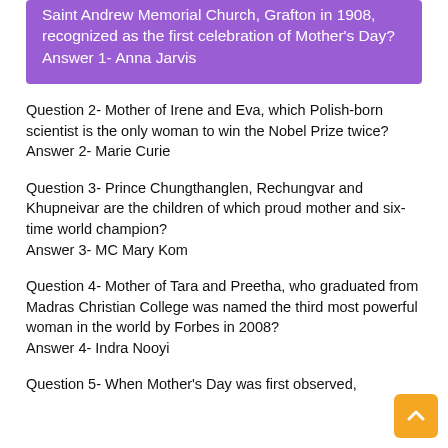Saint Andrew Memorial Church, Grafton in 1908, recognized as the first celebration of Mother's Day? Answer 1- Anna Jarvis
Question 2- Mother of Irene and Eva, which Polish-born scientist is the only woman to win the Nobel Prize twice? Answer 2- Marie Curie
Question 3- Prince Chungthanglen, Rechungvar and Khupneivar are the children of which proud mother and six-time world champion? Answer 3- MC Mary Kom
Question 4- Mother of Tara and Preetha, who graduated from Madras Christian College was named the third most powerful woman in the world by Forbes in 2008? Answer 4- Indra Nooyi
Question 5- When Mother's Day was first observed,